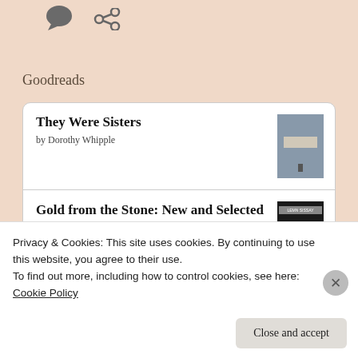[Figure (illustration): Chat bubble icon and share/link icon in dark gray on peach background]
Goodreads
They Were Sisters
by Dorothy Whipple
Gold from the Stone: New and Selected Poems
by Lemn Sissay
Privacy & Cookies: This site uses cookies. By continuing to use this website, you agree to their use.
To find out more, including how to control cookies, see here: Cookie Policy
Close and accept